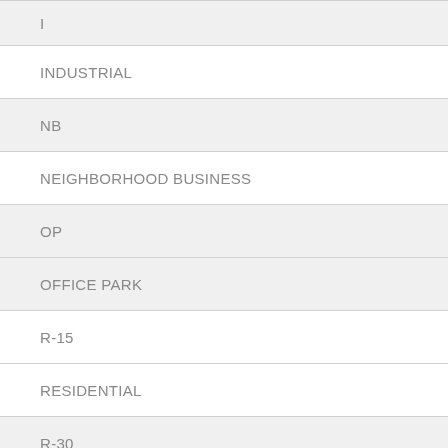I
INDUSTRIAL
NB
NEIGHBORHOOD BUSINESS
OP
OFFICE PARK
R-15
RESIDENTIAL
R-30
RESIDENTIAL